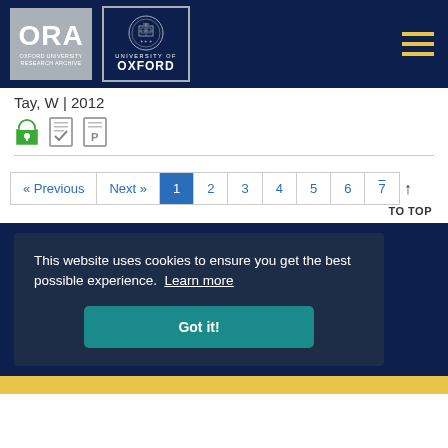[Figure (logo): ORA Oxford University Research Archive logo and University of Oxford crest logo in dark navy header bar with hamburger menu]
Tay, W | 2012
[Figure (illustration): Open access icon (green lock), document with checkmark icon, document with P icon]
« Previous  Next »  1  2  3  4  5  6  7  TO TOP
This website uses cookies to ensure you get the best possible experience. Learn more
Got it!